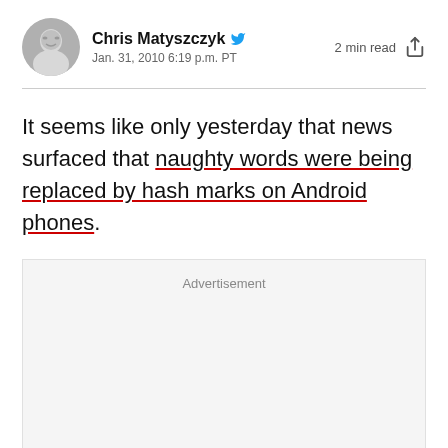Chris Matyszczyk · Jan. 31, 2010 6:19 p.m. PT · 2 min read
It seems like only yesterday that news surfaced that naughty words were being replaced by hash marks on Android phones.
[Figure (other): Advertisement placeholder box]